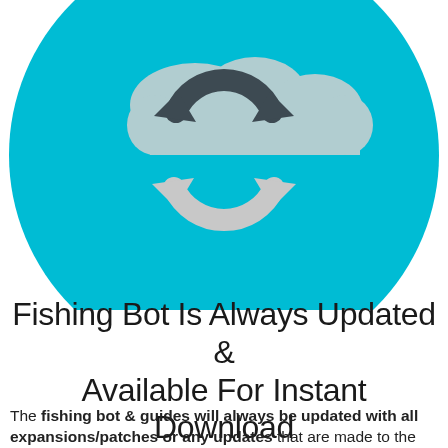[Figure (illustration): A circular teal/cyan icon showing two interlocked refresh/sync arrows — one dark charcoal and one light gray — overlaid on a cloud shape, against a bright teal circle background.]
Fishing Bot Is Always Updated & Available For Instant Download
The fishing bot & guides will always be updated with all expansions/patches or any updates that are made to the